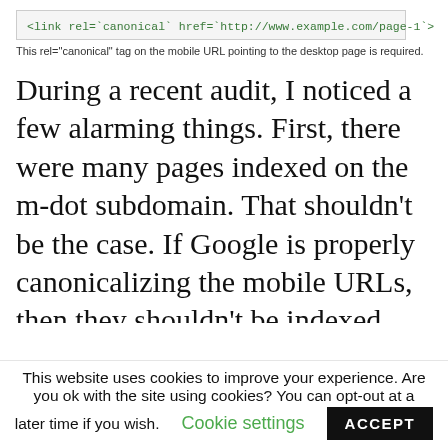[Figure (screenshot): Code snippet showing HTML link element: <link rel='canonical' href='http://www.example.com/page-1'>]
This rel="canonical" tag on the mobile URL pointing to the desktop page is required.
During a recent audit, I noticed a few alarming things. First, there were many pages indexed on the m-dot subdomain. That shouldn’t be the case. If Google is properly canonicalizing the mobile URLs, then they shouldn’t be indexed. Note, there will always be some indexation of mobile URLs showing in Google Search Console (GSC), but you shouldn’t see a
This website uses cookies to improve your experience. Are you ok with the site using cookies? You can opt-out at a later time if you wish. Cookie settings ACCEPT